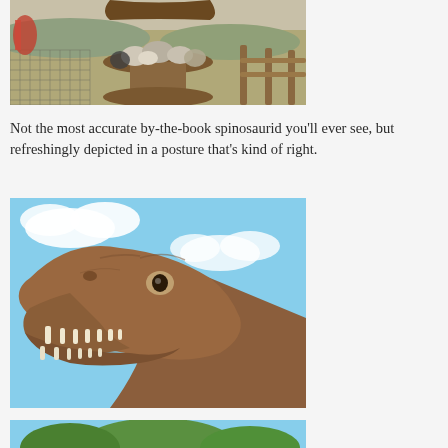[Figure (photo): Outdoor scene with wooden fence/table, rocks, bags, and landscape in background — partial view of dinosaur sculpture above]
Not the most accurate by-the-book spinosaurid you'll ever see, but refreshingly depicted in a posture that's kind of right.
[Figure (photo): Close-up of a brown dinosaur (theropod/T-rex style) sculpture head with open jaws showing teeth, against a blue sky with clouds]
[Figure (photo): Partial view of another dinosaur sculpture outdoors, bottom of page]